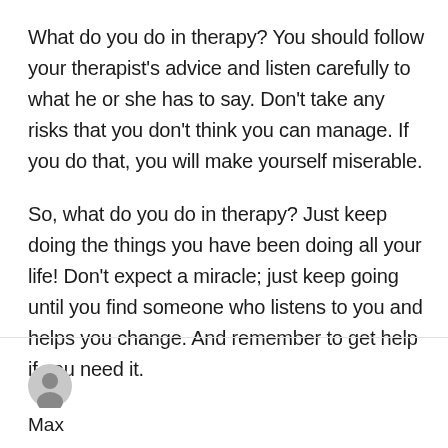What do you do in therapy? You should follow your therapist's advice and listen carefully to what he or she has to say. Don't take any risks that you don't think you can manage. If you do that, you will make yourself miserable.
So, what do you do in therapy? Just keep doing the things you have been doing all your life! Don't expect a miracle; just keep going until you find someone who listens to you and helps you change. And remember to get help if you need it.
Max